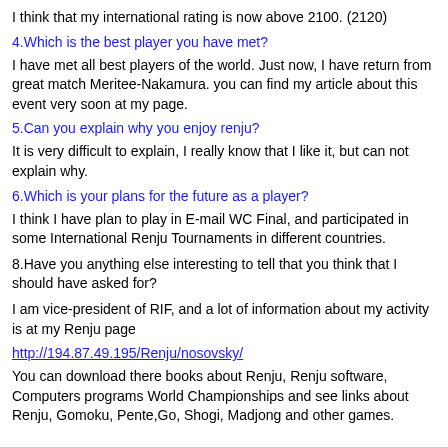I think that my international rating is now above 2100. (2120)
4.Which is the best player you have met?
I have met all best players of the world. Just now, I have return from great match Meritee-Nakamura. you can find my article about this event very soon at my page.
5.Can you explain why you enjoy renju?
It is very difficult to explain, I really know that I like it, but can not explain why.
6.Which is your plans for the future as a player?
I think I have plan to play in E-mail WC Final, and participated in some International Renju Tournaments in different countries.
8.Have you anything else interesting to tell that you think that I should have asked for?
I am vice-president of RIF, and a lot of information about my activity is at my Renju page
http://194.87.49.195/Renju/nosovsky/
You can download there books about Renju, Renju software, Computers programs World Championships and see links about Renju, Gomoku, Pente,Go, Shogi, Madjong and other games.